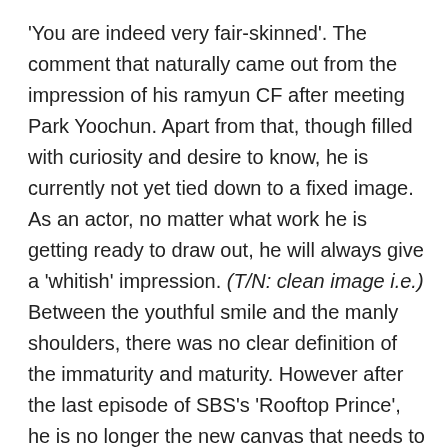'You are indeed very fair-skinned'. The comment that naturally came out from the impression of his ramyun CF after meeting Park Yoochun. Apart from that, though filled with curiosity and desire to know, he is currently not yet tied down to a fixed image. As an actor, no matter what work he is getting ready to draw out, he will always give a 'whitish' impression. (T/N: clean image i.e.) Between the youthful smile and the manly shoulders, there was no clear definition of the immaturity and maturity. However after the last episode of SBS's 'Rooftop Prince', he is no longer the new canvas that needs to be painted on. Putting aside the portions where he is capable of completing, this new actor was able to create scenes immediately where veterans might not be able to do so. The last scene, incident and story was able to bring upon